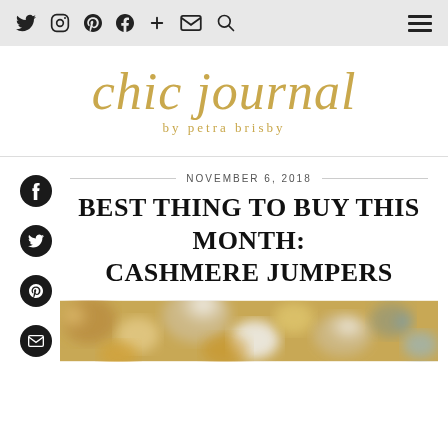Navigation bar with social icons: Twitter, Instagram, Pinterest, Facebook, Plus, Email, Search, and hamburger menu
chic journal by petra brisby
[Figure (logo): Chic Journal by Petra Brisby logo in gold script and serif text]
NOVEMBER 6, 2018
BEST THING TO BUY THIS MONTH: CASHMERE JUMPERS
[Figure (photo): Hero image with blurred autumn foliage — bokeh of orange, gold, and white leaves]